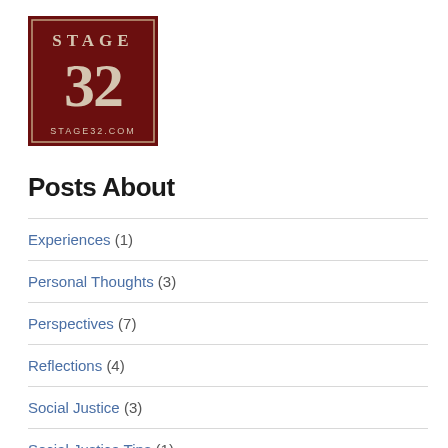[Figure (logo): Stage 32 logo — dark red/maroon square background with 'STAGE' text at top and large '32' numerals below, distressed white lettering, 'STAGE32.COM' at the bottom]
Posts About
Experiences (1)
Personal Thoughts (3)
Perspectives (7)
Reflections (4)
Social Justice (3)
Social Justice Tips (1)